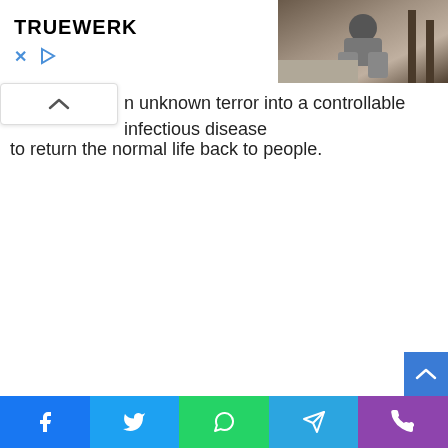[Figure (photo): Advertisement banner with TRUEWERK logo on white background, left side; photo of a man crouching outdoors examining something, right side]
n unknown terror into a controllable infectious disease to return the normal life back to people.
[Figure (other): Social share bar with Facebook, Twitter, WhatsApp, Telegram, and phone icons]